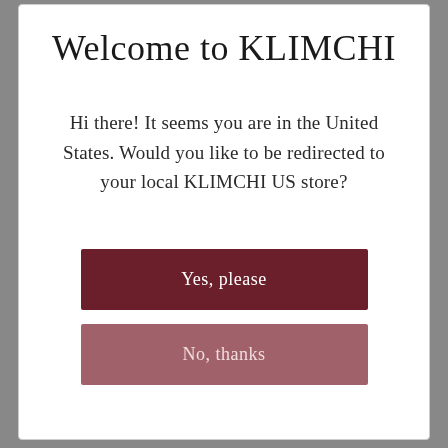Welcome to KLIMCHI
Hi there! It seems you are in the United States. Would you like to be redirected to your local KLIMCHI US store?
Yes, please
No, thanks